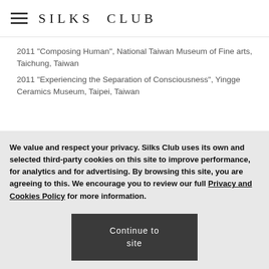Silks Club
2011 "Composing Human", National Taiwan Museum of Fine arts, Taichung, Taiwan
2011 "Experiencing the Separation of Consciousness", Yingge Ceramics Museum, Taipei, Taiwan
We value and respect your privacy. Silks Club uses its own and selected third-party cookies on this site to improve performance, for analytics and for advertising. By browsing this site, you are agreeing to this. We encourage you to review our full Privacy and Cookies Policy for more information.
Continue to site